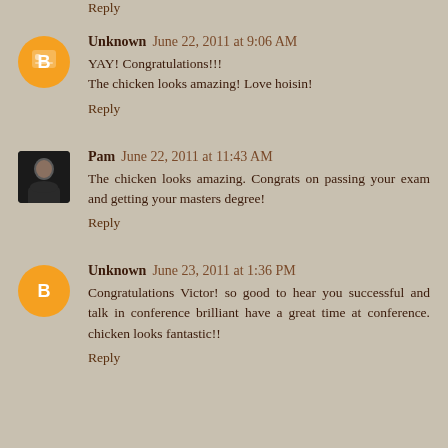Reply
Unknown June 22, 2011 at 9:06 AM
YAY! Congratulations!!!
The chicken looks amazing! Love hoisin!
Reply
Pam June 22, 2011 at 11:43 AM
The chicken looks amazing. Congrats on passing your exam and getting your masters degree!
Reply
Unknown June 23, 2011 at 1:36 PM
Congratulations Victor! so good to hear you successful and talk in conference brilliant have a great time at conference. chicken looks fantastic!!
Reply